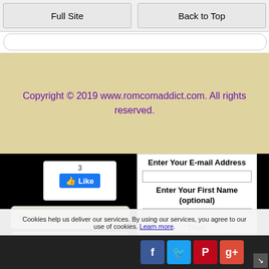Full Site | Back to Top
Copyright © 2019 www.romcomaddict.com. All rights reserved.
[Figure (screenshot): Facebook Like button widget showing count of 3]
Enter Your E-mail Address
Enter Your First Name (optional)
Then
Home
Your Reviews
Action Rom-Coms
Cookies help us deliver our services. By using our services, you agree to our use of cookies. Learn more.
[Figure (screenshot): Social media icons: Facebook, Twitter, Pinterest, Google+]